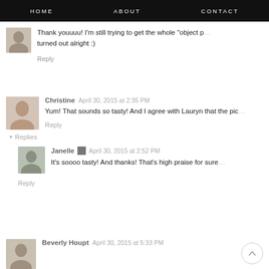HOME   ABOUT   CONTACT
Thank youuuu! I'm still trying to get the whole "object p… turned out alright :)
Reply
Christine   April 30, 2015 at 2:35 PM
Yum! That sounds so tasty! And I agree with Lauryn that the pic…
Reply
▾ Replies
Janelle   April 30, 2015 at 2:52 PM
It's soooo tasty! And thanks! That's high praise for sure…
Reply
Beverly Houpt   April 30, 2015 at 5:33 PM